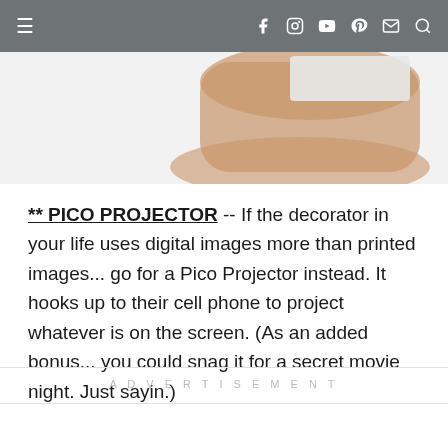≡  [social icons: Facebook, Instagram, YouTube, Pinterest, Email, Search]
[Figure (photo): Partial view of a hand holding a small card or device, cropped at the top of the content area]
** PICO PROJECTOR -- If the decorator in your life uses digital images more than printed images... go for a Pico Projector instead. It hooks up to their cell phone to project whatever is on the screen. (As an added bonus... you could snag it for a secret movie night. Just sayin.)
ADVERTISEMENT